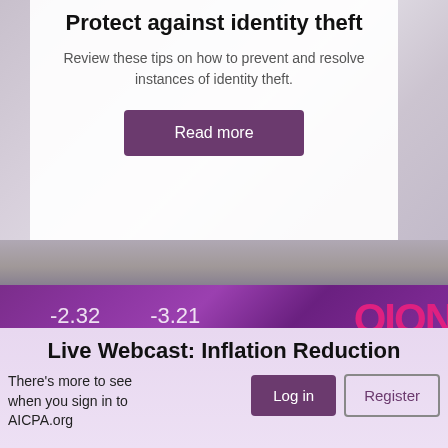Protect against identity theft
Review these tips on how to prevent and resolve instances of identity theft.
[Figure (screenshot): Purple-toned blurred background with financial documents and a white overlay card containing title, subtext, and Read more button]
[Figure (screenshot): Purple financial ticker screen background showing numbers -2.32 and -3.21 with partial red text 'OION' on right side]
Live Webcast: Inflation Reduction
There’s more to see when you sign in to AICPA.org